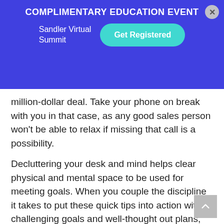COMPLIMENTARY EDUCATION EVENT
Sandler Virtual Summit
Get Registered
million-dollar deal. Take your phone on break with you in that case, as any good sales person won't be able to relax if missing that call is a possibility.
Decluttering your desk and mind helps clear physical and mental space to be used for meeting goals. When you couple the discipline it takes to put these quick tips into action with challenging goals and well-thought out plans, you'll avoid the procrastination triangle and boost your chance of success in 2016.
Posted in Blog Posts, Self Development and tagged goal setting, organization, personal development